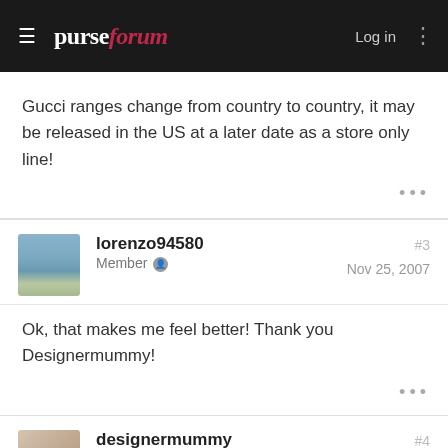purseforum — Log in
Gucci ranges change from country to country, it may be released in the US at a later date as a store only line!
lorenzo94580
Member
#3
Nov 25, 2007
Ok, that makes me feel better! Thank you Designermummy!
designermummy
Member
#4
Nov 25, 2007